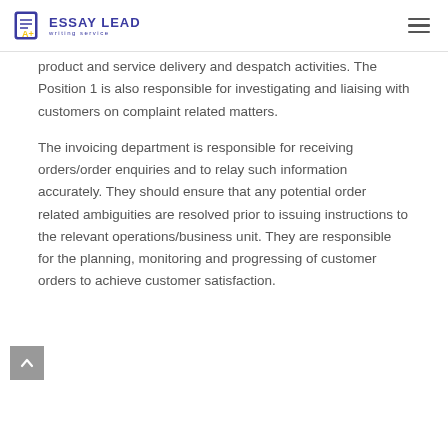ESSAY LEAD writing service
product and service delivery and despatch activities. The Position 1 is also responsible for investigating and liaising with customers on complaint related matters.
The invoicing department is responsible for receiving orders/order enquiries and to relay such information accurately. They should ensure that any potential order related ambiguities are resolved prior to issuing instructions to the relevant operations/business unit. They are responsible for the planning, monitoring and progressing of customer orders to achieve customer satisfaction.